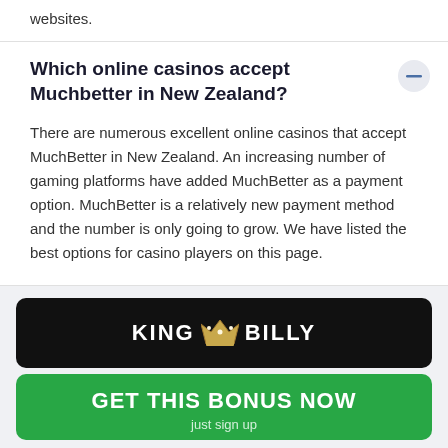websites.
Which online casinos accept Muchbetter in New Zealand?
There are numerous excellent online casinos that accept MuchBetter in New Zealand. An increasing number of gaming platforms have added MuchBetter as a payment option. MuchBetter is a relatively new payment method and the number is only going to grow. We have listed the best options for casino players on this page.
[Figure (logo): King Billy casino logo banner with crown icon on black background]
[Figure (infographic): Green GET THIS BONUS NOW button with 'just sign up' subtitle]